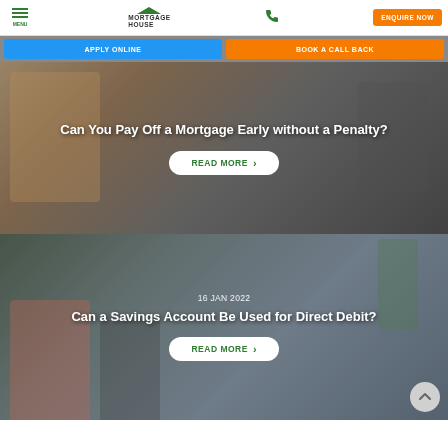MENU | MORTGAGE HOUSE | Phone | ENQUIRE NOW
APPLY ONLINE | BOOK A CALL BACK
[Figure (photo): Person handing keys over a table - mortgage article hero image]
Can You Pay Off a Mortgage Early without a Penalty?
READ MORE
[Figure (photo): Two people at a desk meeting with a financial advisor - savings account article hero image]
16 JAN 2022
Can a Savings Account Be Used for Direct Debit?
READ MORE